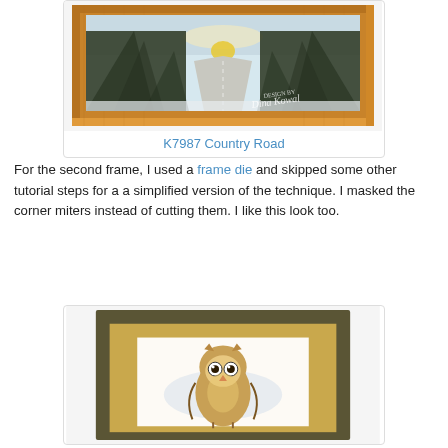[Figure (photo): A framed artwork showing a snowy country road with pine trees on both sides converging to a horizon with a glowing sun, set in a warm brown wooden frame. Designer watermark 'Dina Kowal' visible in lower right corner.]
K7987 Country Road
For the second frame, I used a frame die and skipped some other tutorial steps for a a simplified version of the technique. I masked the corner miters instead of cutting them. I like this look too.
[Figure (photo): A framed craft project showing a cute cartoon owl stamped on white card stock, matted with a gold/tan background and a dark olive/brown outer frame, partially visible from below.]